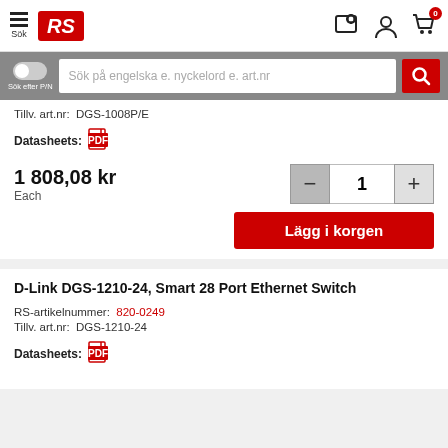RS Components - Sök
Sök på engelska e. nyckelord e. art.nr
Tillv. art.nr:  DGS-1008P/E
Datasheets:
1 808,08 kr
Each
Lägg i korgen
D-Link DGS-1210-24, Smart 28 Port Ethernet Switch
RS-artikelnummer:  820-0249
Tillv. art.nr:  DGS-1210-24
Datasheets: